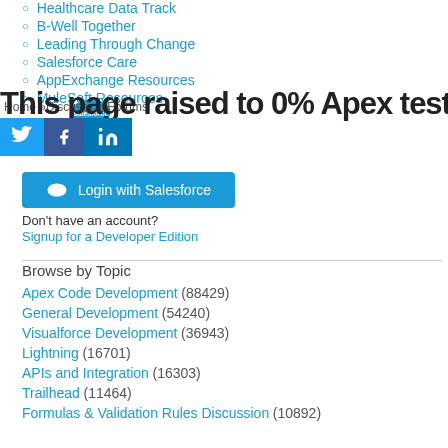Healthcare Data Track
B-Well Together
Leading Through Change
Salesforce Care
AppExchange Resources
MuleSoft Resources
[Figure (logo): Salesforce cloud logo in blue]
Home » Discussion Forums
This page raised to 0% Apex test
[Figure (infographic): Social share buttons: Twitter, Facebook, LinkedIn]
[Figure (illustration): Login with Salesforce button with cloud icon]
Don't have an account?
Signup for a Developer Edition
Browse by Topic
Apex Code Development (88429)
General Development (54240)
Visualforce Development (36943)
Lightning (16701)
APIs and Integration (16303)
Trailhead (11464)
Formulas & Validation Rules Discussion (10892)